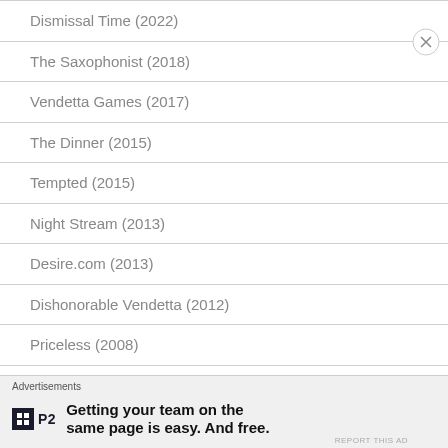Dismissal Time (2022)
The Saxophonist (2018)
Vendetta Games (2017)
The Dinner (2015)
Tempted (2015)
Night Stream (2013)
Desire.com (2013)
Dishonorable Vendetta (2012)
Priceless (2008)
Overjoyed (2006)
The Evil Society (2005)
Advertisements
Getting your team on the same page is easy. And free.